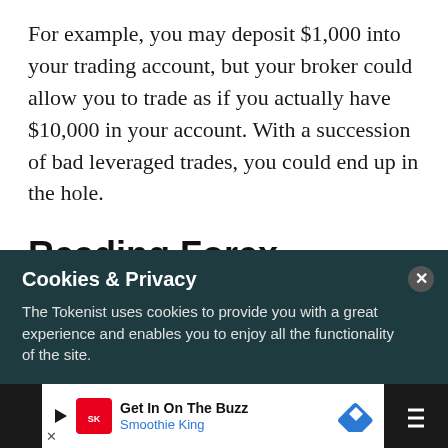For example, you may deposit $1,000 into your trading account, but your broker could allow you to trade as if you actually have $10,000 in your account. With a succession of bad leveraged trades, you could end up in the hole.
Reading Forex Charts 🔍
By now you're wondering, how do I actually make money doing this? Well, in order to do that you're
Cookies & Privacy
The Tokenist uses cookies to provide you with a great experience and enables you to enjoy all the functionality of the site.
[Figure (other): Advertisement bar for Smoothie King: 'Get In On The Buzz' with Smoothie King branding, a blue diamond navigation icon, and a close button.]